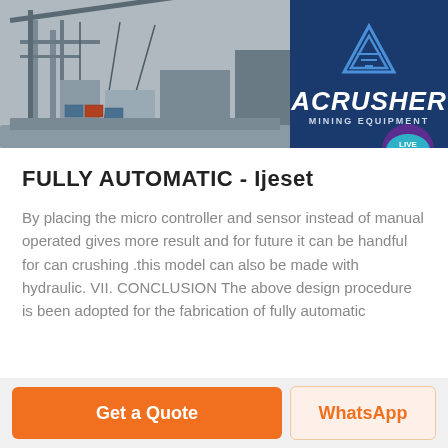[Figure (photo): Header banner showing an industrial/mining scene on the left and the ACRUSHER MINING EQUIPMENT logo on a dark blue background on the right]
FULLY AUTOMATIC - Ijeset
By placing the micro controller and sensor instead of manual operated gives more result and for future it can be handful for can crushing .this model can also be made with hydraulic. VII. CONCLUSION The above design procedure is been adopted for the fabrication of fully automatic
Get Price
Get a Quote
WhatsApp